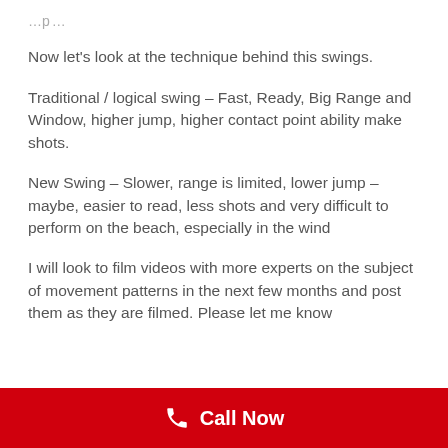Now let’s look at the technique behind this swings.
Traditional / logical swing – Fast, Ready, Big Range and Window, higher jump, higher contact point ability make shots.
New Swing – Slower, range is limited, lower jump – maybe, easier to read, less shots and very difficult to perform on the beach, especially in the wind
I will look to film videos with more experts on the subject of movement patterns in the next few months and post them as they are filmed. Please let me know
Call Now